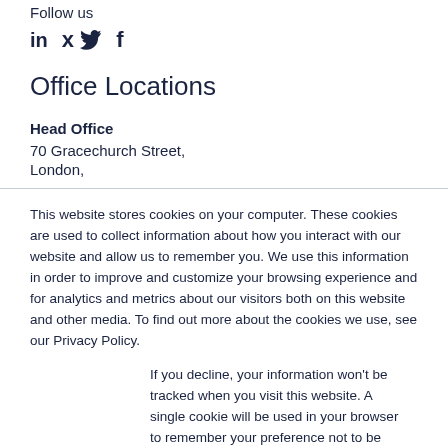Follow us
[Figure (illustration): Social media icons: LinkedIn (in), Twitter (bird), Facebook (f)]
Office Locations
Head Office
70 Gracechurch Street,
London,
This website stores cookies on your computer. These cookies are used to collect information about how you interact with our website and allow us to remember you. We use this information in order to improve and customize your browsing experience and for analytics and metrics about our visitors both on this website and other media. To find out more about the cookies we use, see our Privacy Policy.
If you decline, your information won't be tracked when you visit this website. A single cookie will be used in your browser to remember your preference not to be tracked.
Accept
Decline